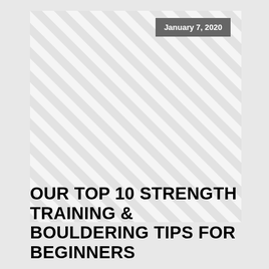[Figure (illustration): Large square image area with diagonal stripe pattern in light gray and white tones, serving as a placeholder image.]
January 7, 2020
OUR TOP 10 STRENGTH TRAINING & BOULDERING TIPS FOR BEGINNERS